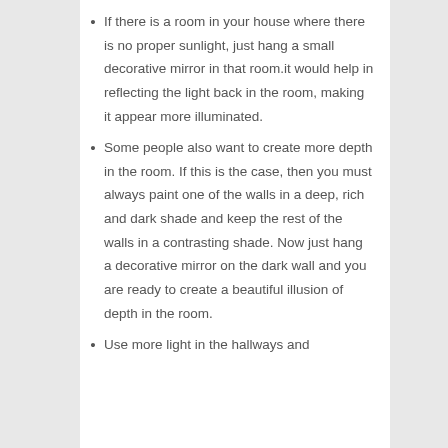If there is a room in your house where there is no proper sunlight, just hang a small decorative mirror in that room.it would help in reflecting the light back in the room, making it appear more illuminated.
Some people also want to create more depth in the room. If this is the case, then you must always paint one of the walls in a deep, rich and dark shade and keep the rest of the walls in a contrasting shade. Now just hang a decorative mirror on the dark wall and you are ready to create a beautiful illusion of depth in the room.
Use more light in the hallways and